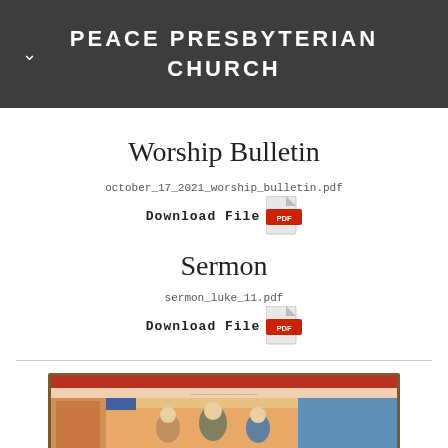PEACE PRESBYTERIAN CHURCH
Worship Bulletin
october_17_2021_worship_bulletin.pdf
Download File
Sermon
sermon_luke_11.pdf
Download File
[Figure (photo): Illuminated manuscript image showing biblical figures in colorful medieval style, partially visible at bottom of page.]